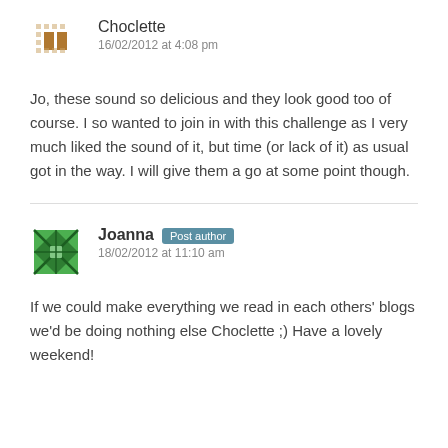[Figure (illustration): Choclette avatar: small dotted/square pattern icon in orange/brown tones]
Choclette
16/02/2012 at 4:08 pm
Jo, these sound so delicious and they look good too of course. I so wanted to join in with this challenge as I very much liked the sound of it, but time (or lack of it) as usual got in the way. I will give them a go at some point though.
[Figure (illustration): Joanna avatar: green geometric/diamond pattern icon]
Joanna Post author
18/02/2012 at 11:10 am
If we could make everything we read in each others' blogs we'd be doing nothing else Choclette ;) Have a lovely weekend!